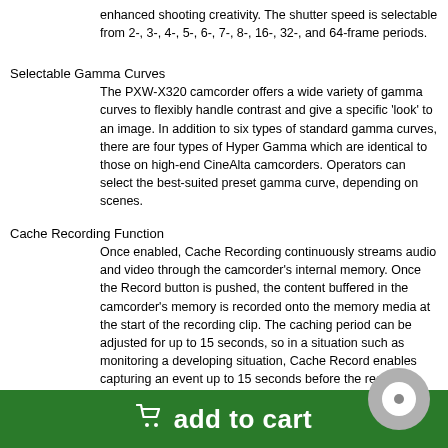enhanced shooting creativity. The shutter speed is selectable from 2-, 3-, 4-, 5-, 6-, 7-, 8-, 16-, 32-, and 64-frame periods.
Selectable Gamma Curves
The PXW-X320 camcorder offers a wide variety of gamma curves to flexibly handle contrast and give a specific 'look' to an image. In addition to six types of standard gamma curves, there are four types of Hyper Gamma which are identical to those on high-end CineAlta camcorders. Operators can select the best-suited preset gamma curve, depending on scenes.
Cache Recording Function
Once enabled, Cache Recording continuously streams audio and video through the camcorder's internal memory. Once the Record button is pushed, the content buffered in the camcorder's memory is recorded onto the memory media at the start of the recording clip. The caching period can be adjusted for up to 15 seconds, so in a situation such as monitoring a developing situation, Cache Record enables capturing an event up to 15 seconds before the record button is pressed.
Shutter Angle Settings
In addition to the electronic shutter speed controls,
add to cart